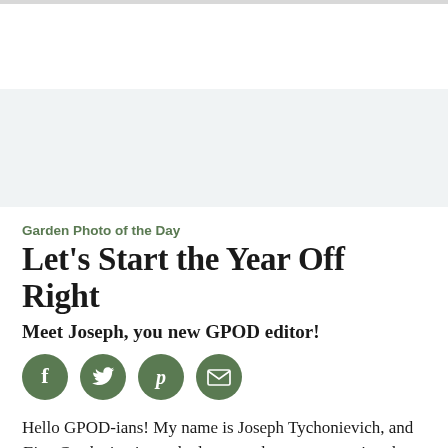Garden Photo of the Day
Let's Start the Year Off Right
Meet Joseph, you new GPOD editor!
[Figure (infographic): Four circular sage-green social media share icons: Facebook (f), Twitter (bird), Pinterest (P), and Email (envelope)]
Hello GPOD-ians! My name is Joseph Tychonievich, and Fine Gardening just asked me to take over managing the Garden Photo of the